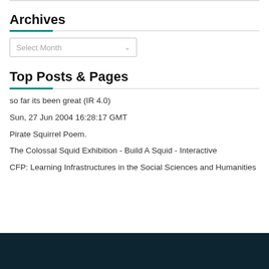Archives
Select Month
Top Posts & Pages
so far its been great (IR 4.0)
Sun, 27 Jun 2004 16:28:17 GMT
Pirate Squirrel Poem.
The Colossal Squid Exhibition - Build A Squid - Interactive
CFP: Learning Infrastructures in the Social Sciences and Humanities